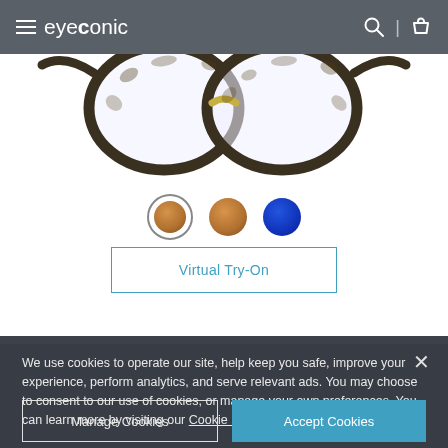eyeconic
[Figure (photo): Tortoiseshell cat-eye eyeglasses (Calvin Klein CK5462) displayed against white background]
[Figure (infographic): Three color swatches: tan/tortoise (selected, with ring), tan/caramel, and cobalt blue]
Virtual Try-On
CALVIN KLEIN
$288.00
CK5462
We use cookies to operate our site, help keep you safe, improve your experience, perform analytics, and serve relevant ads. You may choose to consent to our use of cookies, or manage your own preferences. You can learn more by visiting our Cookie Policy.
Manage Cookies
Accept Cookies